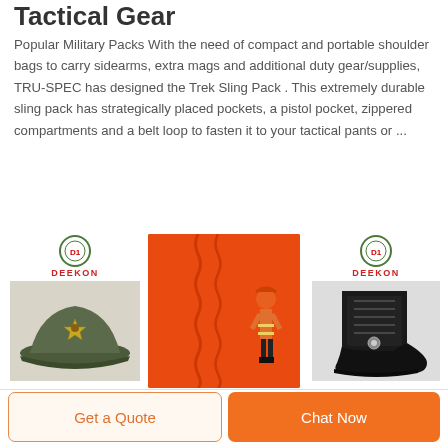Tactical Gear
Popular Military Packs With the need of compact and portable shoulder bags to carry sidearms, extra mags and additional duty gear/supplies, TRU-SPEC has designed the Trek Sling Pack . This extremely durable sling pack has strategically placed pockets, a pistol pocket, zippered compartments and a belt loop to fasten it to your tactical pants or ...
[Figure (photo): Three product images: a military olive green cap with badge, an orange fire-resistant fabric/suit image with DEEKON branding, and a black tactical boot - all with DEEKON logos]
Get a Quote   Chat Now